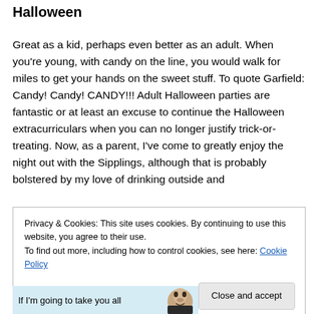Halloween
Great as a kid, perhaps even better as an adult. When you're young, with candy on the line, you would walk for miles to get your hands on the sweet stuff. To quote Garfield: Candy! Candy! CANDY!!! Adult Halloween parties are fantastic or at least an excuse to continue the Halloween extracurriculars when you can no longer justify trick-or-treating. Now, as a parent, I've come to greatly enjoy the night out with the Sipplings, although that is probably bolstered by my love of drinking outside and
Privacy & Cookies: This site uses cookies. By continuing to use this website, you agree to their use.
To find out more, including how to control cookies, see here: Cookie Policy

[Close and accept]
If I'm going to take you all